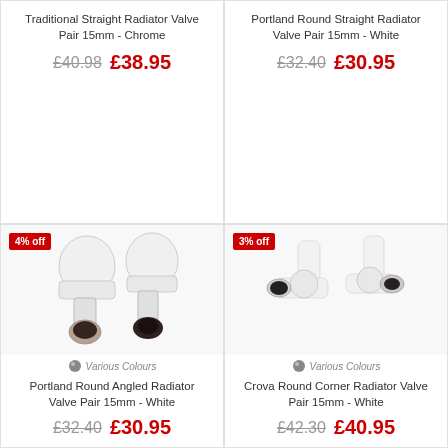Traditional Straight Radiator Valve Pair 15mm - Chrome
£40.98 £38.95
Portland Round Straight Radiator Valve Pair 15mm - White
£32.40 £30.95
4% off
[Figure (photo): Two white angled radiator valves with metal fittings, Portland Round Angled Radiator Valve Pair 15mm White]
Various Colours
Portland Round Angled Radiator Valve Pair 15mm - White
£32.40 £30.95
3% off
[Figure (photo): Two white corner radiator valves with chrome metal fittings, Crova Round Corner Radiator Valve Pair 15mm White]
Various Colours
Crova Round Corner Radiator Valve Pair 15mm - White
£42.30 £40.95